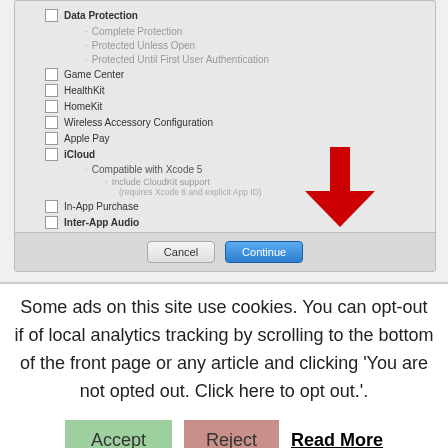[Figure (screenshot): Screenshot of an Xcode capabilities dialog showing a list of app capabilities with checkboxes. Items include Data Protection (with sub-items Complete Protection, Protected Unless Open, Protected Until First User Authentication), Game Center, HealthKit, HomeKit, Wireless Accessory Configuration, Apple Pay, iCloud (with sub-items Compatible with Xcode 5, Include CloudKit support (requires Xcode 6 and explicit App ID)), In-App Purchase, Inter-App Audio (bold), Wallet (bold), Push Notifications, VPN Configuration & Control. A red arrow points down to the Continue button. Cancel and Continue buttons are at the bottom.]
Some ads on this site use cookies. You can opt-out if of local analytics tracking by scrolling to the bottom of the front page or any article and clicking 'You are not opted out. Click here to opt out.'.